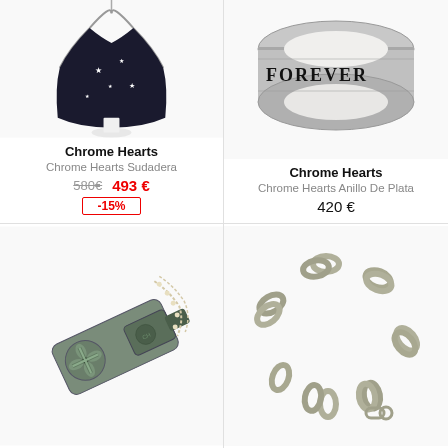[Figure (photo): Chrome Hearts dark hoodie/jacket displayed on hanger with star pattern]
Chrome Hearts
Chrome Hearts Sudadera
580€  493 €  -15%
[Figure (photo): Chrome Hearts silver ring with 'FOREVER' text in gothic lettering]
Chrome Hearts
Chrome Hearts Anillo De Plata
420 €
[Figure (photo): Chrome Hearts silver whistle pendant with cross motif and chain]
[Figure (photo): Chrome Hearts silver chain bracelet with oval links]